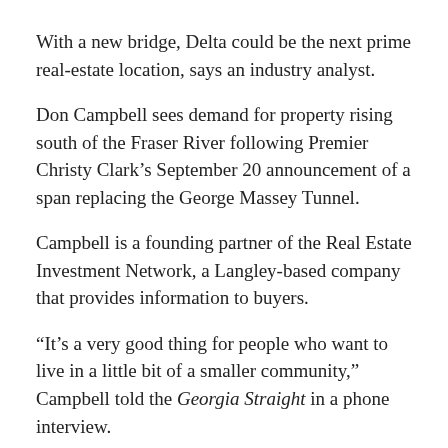With a new bridge, Delta could be the next prime real-estate location, says an industry analyst.
Don Campbell sees demand for property rising south of the Fraser River following Premier Christy Clark’s September 20 announcement of a span replacing the George Massey Tunnel.
Campbell is a founding partner of the Real Estate Investment Network, a Langley-based company that provides information to buyers.
“It’s a very good thing for people who want to live in a little bit of a smaller community,” Campbell told the Georgia Straight in a phone interview.
The proposed crossing, up for construction starting in 2017, is the province’s answer to traffic congestion at the tunnel site.
It will also open Delta in about the same way that the Golden Ears, Pitt River, and twinned Port Mann bridges did for Maple